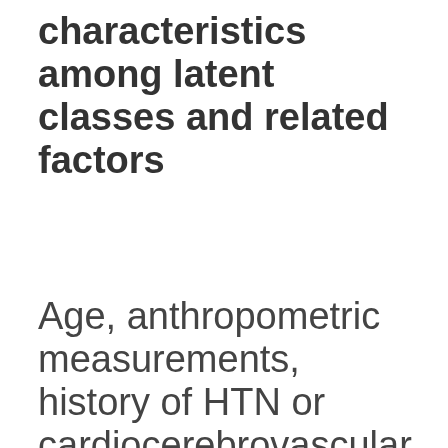characteristics among latent classes and related factors
Age, anthropometric measurements, history of HTN or cardiocerebrovascular disease, family history of HTN, and comorbidities showed significant differences among the 4